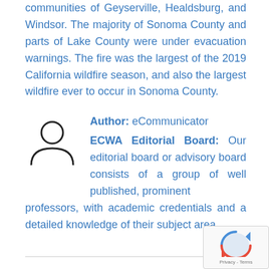communities of Geyserville, Healdsburg, and Windsor. The majority of Sonoma County and parts of Lake County were under evacuation warnings. The fire was the largest of the 2019 California wildfire season, and also the largest wildfire ever to occur in Sonoma County.
Author: eCommunicator
ECWA Editorial Board: Our editorial board or advisory board consists of a group of well published, prominent professors, with academic credentials and a detailed knowledge of their subject area.